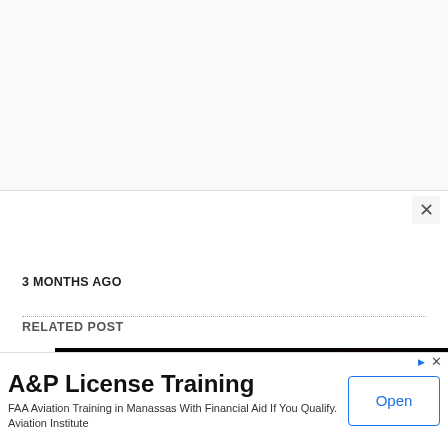[Figure (screenshot): White/grey top area of a webpage or modal, partially visible]
×
3 MONTHS AGO
RELATED POST
[Figure (photo): Dark thumbnail image for a related post, with brownish-red glow on dark background and a grey circle element]
[Figure (screenshot): Advertisement banner: A&P License Training. FAA Aviation Training in Manassas With Financial Aid If You Qualify. Aviation Institute. Open button.]
A&P License Training
FAA Aviation Training in Manassas With Financial Aid If You Qualify. Aviation Institute
Open